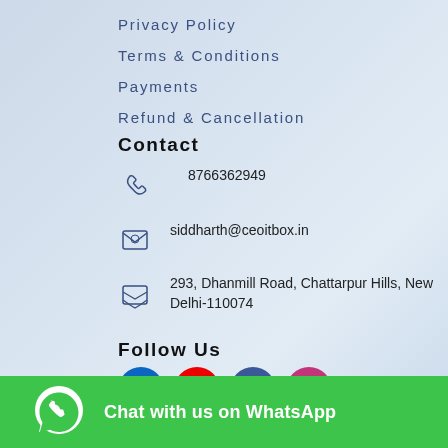Privacy Policy
Terms & Conditions
Payments
Refund & Cancellation
Contact
8766362949
siddharth@ceoitbox.in
293, Dhanmill Road, Chattarpur Hills, New Delhi-110074
Follow Us
[Figure (infographic): Social media icons: LinkedIn (blue), YouTube (red), Facebook (blue), Instagram (pink/magenta)]
Contact Us
[Figure (infographic): WhatsApp chat button bar with green background, WhatsApp logo icon, and text 'Chat with us on WhatsApp']